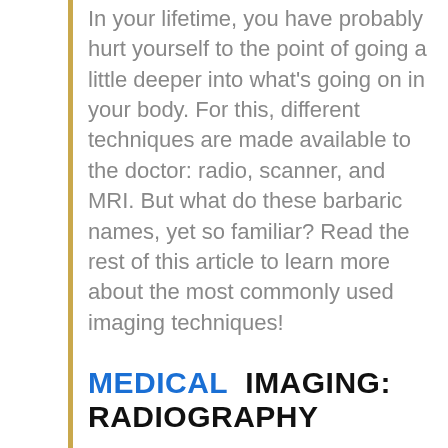In your lifetime, you have probably hurt yourself to the point of going a little deeper into what's going on in your body. For this, different techniques are made available to the doctor: radio, scanner, and MRI. But what do these barbaric names, yet so familiar? Read the rest of this article to learn more about the most commonly used imaging techniques!
MEDICAL IMAGING: RADIOGRAPHY
Whether following a fall to verify that there was no fracture, to observe the lungs to detect a possible pulmonary or cardiac problem, or even to the dentist to identify cavities, radiography by X-ray is the best